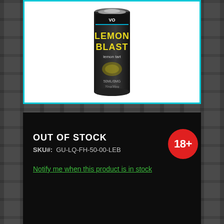[Figure (photo): Product can of Lemon Blast lemon tart vape liquid, 50ml/0mg, black can with yellow text]
OUT OF STOCK
SKU#:  GU-LQ-FH-50-00-LEB
Notify me when this product is in stock
[Figure (illustration): 18+ age restriction badge, red circle with white 18+ text]